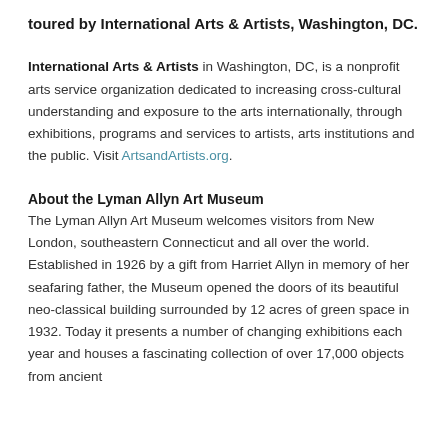toured by International Arts & Artists, Washington, DC.
International Arts & Artists in Washington, DC, is a nonprofit arts service organization dedicated to increasing cross-cultural understanding and exposure to the arts internationally, through exhibitions, programs and services to artists, arts institutions and the public. Visit ArtsandArtists.org.
About the Lyman Allyn Art Museum
The Lyman Allyn Art Museum welcomes visitors from New London, southeastern Connecticut and all over the world. Established in 1926 by a gift from Harriet Allyn in memory of her seafaring father, the Museum opened the doors of its beautiful neo-classical building surrounded by 12 acres of green space in 1932. Today it presents a number of changing exhibitions each year and houses a fascinating collection of over 17,000 objects from ancient...